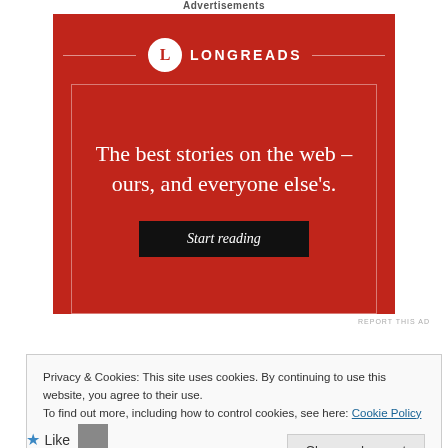Advertisements
[Figure (illustration): Longreads advertisement banner on red background with logo, tagline 'The best stories on the web – ours, and everyone else's.' and a 'Start reading' button]
REPORT THIS AD
Privacy & Cookies: This site uses cookies. By continuing to use this website, you agree to their use.
To find out more, including how to control cookies, see here: Cookie Policy
Close and accept
Like